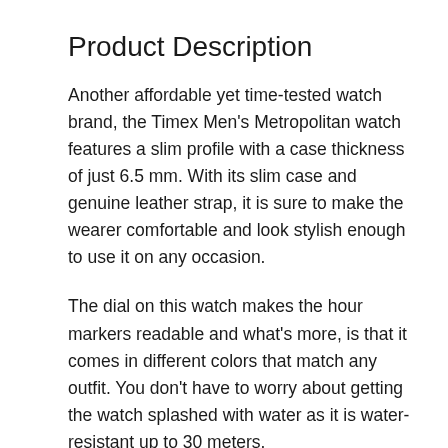Product Description
Another affordable yet time-tested watch brand, the Timex Men's Metropolitan watch features a slim profile with a case thickness of just 6.5 mm. With its slim case and genuine leather strap, it is sure to make the wearer comfortable and look stylish enough to use it on any occasion.
The dial on this watch makes the hour markers readable and what's more, is that it comes in different colors that match any outfit. You don’t have to worry about getting the watch splashed with water as it is water-resistant up to 30 meters.
This watch also runs in an analog-quartz movement that makes the battery last up to 10